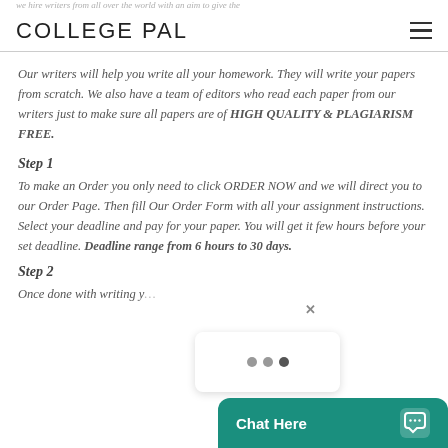we hire writers from all over the world with an aim to give the — COLLEGE PAL
Our writers will help you write all your homework. They will write your papers from scratch. We also have a team of editors who read each paper from our writers just to make sure all papers are of HIGH QUALITY & PLAGIARISM FREE.
Step 1
To make an Order you only need to click ORDER NOW and we will direct you to our Order Page. Then fill Our Order Form with all your assignment instructions. Select your deadline and pay for your paper. You will get it few hours before your set deadline. Deadline range from 6 hours to 30 days.
Step 2
Once done with writing y…